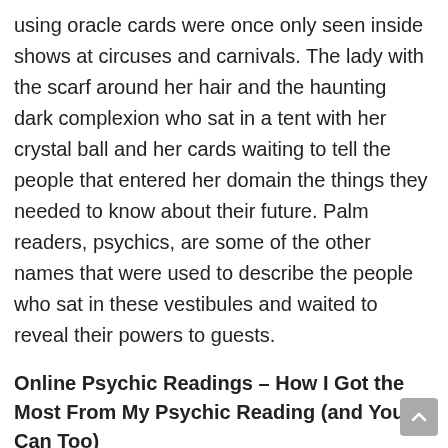using oracle cards were once only seen inside shows at circuses and carnivals. The lady with the scarf around her hair and the haunting dark complexion who sat in a tent with her crystal ball and her cards waiting to tell the people that entered her domain the things they needed to know about their future. Palm readers, psychics, are some of the other names that were used to describe the people who sat in these vestibules and waited to reveal their powers to guests.
Online Psychic Readings – How I Got the Most From My Psychic Reading (and You Can Too)
If you are a person interested in getting an online psychic reading then you want to keep your eyes open for frauds and those who are looking only to get money. You have to be able to determine who is real and who is not when it comes to psychic readers. To help you in determining this you need